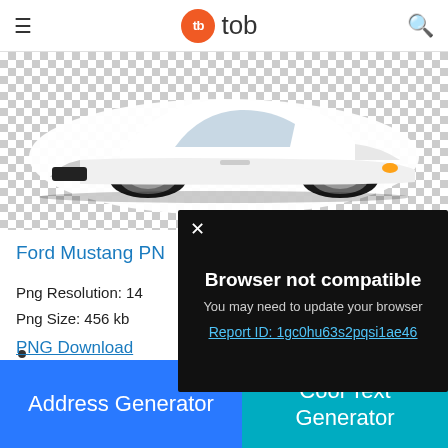tb tob (navigation bar with hamburger menu and search icon)
[Figure (photo): White Ford Mustang car on transparent checkerboard background, showing front-right angle view]
Ford Mustang PN
Png Resolution: 14
Png Size: 456 kb
Powered by GliaStudio
PNG Download
[Figure (screenshot): Modal dialog with dark background showing 'Browser not compatible' message, 'You may need to update your browser' subtitle, close button (X), and link 'Report ID: 1gc0hu63s2pqsi1ae46']
Address Generator
Cool Text Generator